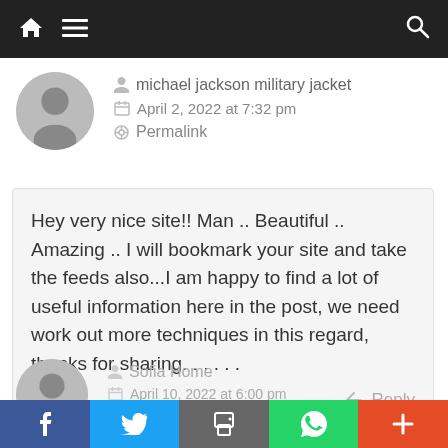Navigation bar with home, menu, search icons
michael jackson military jacket
April 2, 2022 at 7:32 pm
Permalink
Hey very nice site!! Man .. Beautiful .. Amazing .. I will bookmark your site and take the feeds also...I am happy to find a lot of useful information here in the post, we need work out more techniques in this regard, thanks for sharing. . . . . .
Reply
Sofia Home
April 10, 2022 at 6:00 pm
f  Twitter  Print  WhatsApp  +